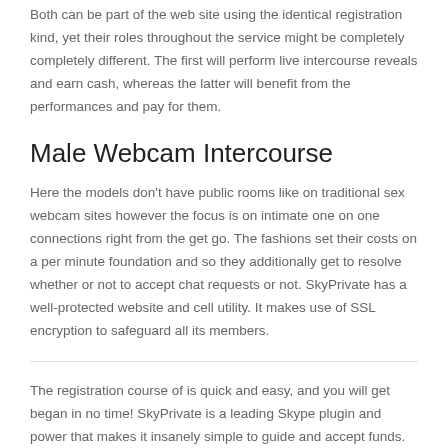Both can be part of the web site using the identical registration kind, yet their roles throughout the service might be completely completely different. The first will perform live intercourse reveals and earn cash, whereas the latter will benefit from the performances and pay for them.
Male Webcam Intercourse
Here the models don't have public rooms like on traditional sex webcam sites however the focus is on intimate one on one connections right from the get go. The fashions set their costs on a per minute foundation and so they additionally get to resolve whether or not to accept chat requests or not. SkyPrivate has a well-protected website and cell utility. It makes use of SSL encryption to safeguard all its members.
The registration course of is quick and easy, and you will get began in no time! SkyPrivate is a leading Skype plugin and power that makes it insanely simple to guide and accept funds.